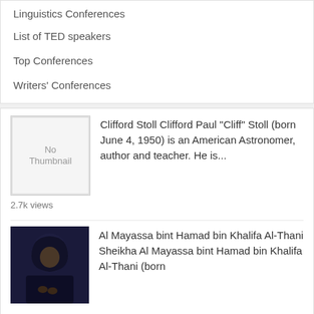Linguistics Conferences
List of TED speakers
Top Conferences
Writers' Conferences
Clifford Stoll Clifford Paul "Cliff" Stoll (born June 4, 1950) is an American Astronomer, author and teacher. He is...
2.7k views
Al Mayassa bint Hamad bin Khalifa Al-Thani Sheikha Al Mayassa bint Hamad bin Khalifa Al-Thani (born